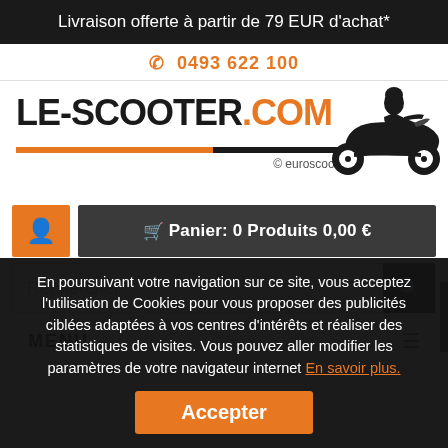Livraison offerte à partir de 79 EUR d'achat*
📞 0493 622 100
[Figure (logo): LE-SCOOTER.COM logo with orange accent and scooter silhouette, with 'euroscoot' copyright text below]
🙍 🛒 Panier: 0 Produits 0,00 €
Rechercher
MENU
En poursuivant votre navigation sur ce site, vous acceptez l'utilisation de Cookies pour vous proposer des publicités ciblées adaptées à vos centres d'intérêts et réaliser des statistiques de visites. Vous pouvez aller modifier les paramètres de votre navigateur internet En savoir plus.
Accepter